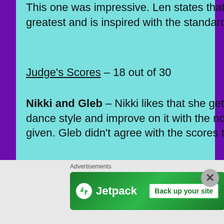This one was impressive. Len states that her challenge is the greatest and is inspired with the standard she dances to.
Judge's Scores – 18 out of 30
Nikki and Gleb – Nikki likes that she gets to dance the same dance style and improve on it with the notes she's been given. Gleb didn't agree with the scores the night before.
This dance is more fun than the first dance. She seems to be a little less reserved, but still cautious. She admits she had more fun tonight. Carrie Anne liked the overall presentation and that she seemed more comfortable. She tells her to be stronger with her arms. Own how great she looks. Len says she controlled the dance this time after
Advertisements
[Figure (screenshot): Jetpack advertisement banner with 'Back up your site' button]